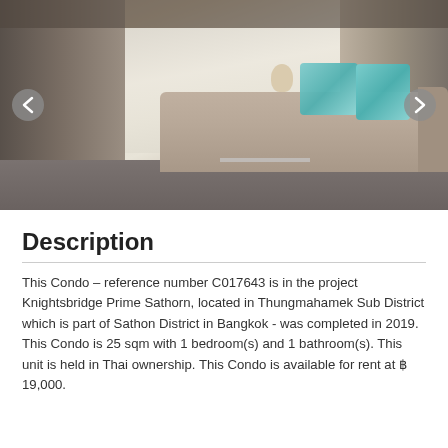[Figure (photo): Interior photo of a furnished condo living room with a brown leather sofa with teal decorative pillows and a teddy bear, glass coffee table, large windows with grey curtains letting in natural light, and a TV on the right side.]
Description
This Condo – reference number C017643 is in the project Knightsbridge Prime Sathorn, located in Thungmahamek Sub District which is part of Sathon District in Bangkok - was completed in 2019. This Condo is 25 sqm with 1 bedroom(s) and 1 bathroom(s). This unit is held in Thai ownership. This Condo is available for rent at ฿ 19,000.